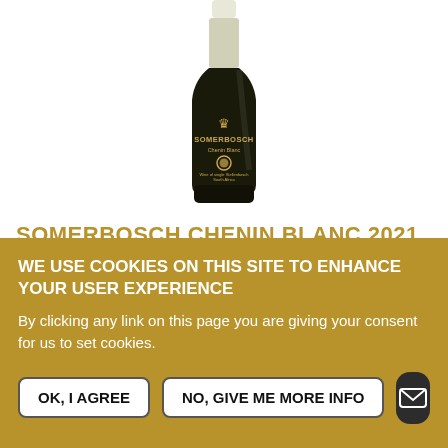[Figure (photo): A wine bottle of Somerbosch Chenin Blanc with a dark/black label featuring a gold lion logo and gold text 'SOMERBOSCH Chenin Blanc' against a white background.]
SOMERBOSCH CHENIN BLANC 2021
Big, bold and beautiful with notes of tropical fruits, lychee and
WE USE COOKIES ON THIS SITE TO ENHANCE YOUR USER EXPERIENCE
By clicking any link on this page you are giving your consent for us to set cookies.
OK, I AGREE
NO, GIVE ME MORE INFO